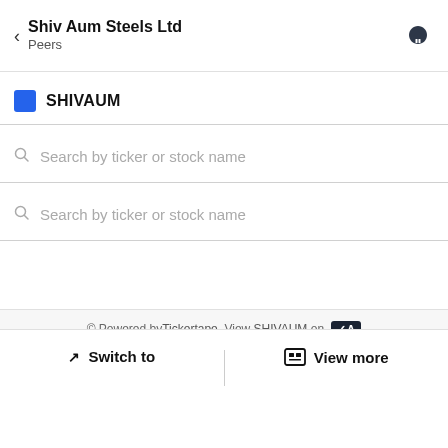Shiv Aum Steels Ltd — Peers
SHIVAUM
Search by ticker or stock name
Search by ticker or stock name
© Powered by Tickertape. View SHIVAUM on [Tickertape badge]
Switch to | View more